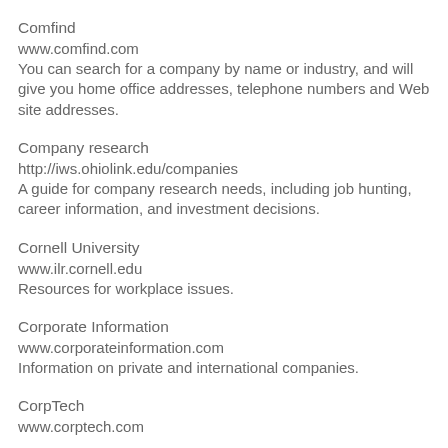Comfind
www.comfind.com
You can search for a company by name or industry, and will give you home office addresses, telephone numbers and Web site addresses.
Company research
http://iws.ohiolink.edu/companies
A guide for company research needs, including job hunting, career information, and investment decisions.
Cornell University
www.ilr.cornell.edu
Resources for workplace issues.
Corporate Information
www.corporateinformation.com
Information on private and international companies.
CorpTech
www.corptech.com